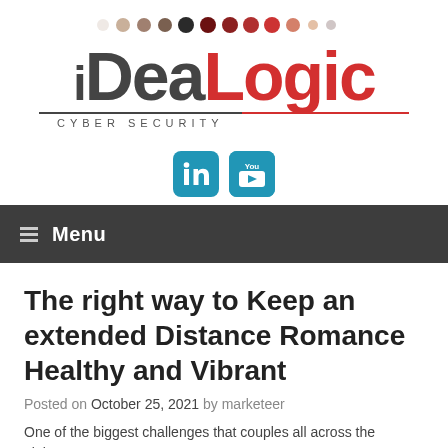[Figure (logo): iDeaLogic Cyber Security logo with decorative dots row above]
[Figure (logo): LinkedIn and YouTube social media icons]
Menu
The right way to Keep an extended Distance Romance Healthy and Vibrant
Posted on October 25, 2021 by marketeer
One of the biggest challenges that couples all across the globe...